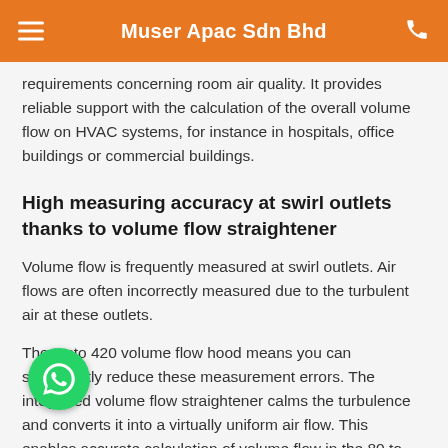Muser Apac Sdn Bhd
requirements concerning room air quality. It provides reliable support with the calculation of the overall volume flow on HVAC systems, for instance in hospitals, office buildings or commercial buildings.
High measuring accuracy at swirl outlets thanks to volume flow straightener
Volume flow is frequently measured at swirl outlets. Air flows are often incorrectly measured due to the turbulent air at these outlets.
The testo 420 volume flow hood means you can significantly reduce these measurement errors. The integrated volume flow straightener calms the turbulence and converts it into a virtually uniform air flow. This enables accurate calculation of volume flow in the 80 to 3,500 m3/h range.